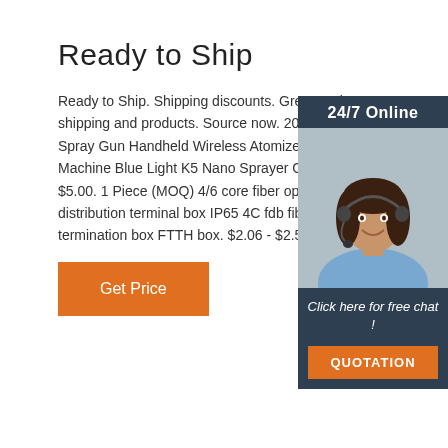Ready to Ship
Ready to Ship. Shipping discounts. Great savings on shipping and products. Source now. 2021 New Spray Gun Handheld Wireless Atomizer Fog Machine Blue Light K5 Nano Sprayer Gun. $5.00. 1 Piece (MOQ) 4/6 core fiber optic sp distribution terminal box IP65 4C fdb fiber op termination box FTTH box. $2.06 - $2.50.
[Figure (photo): Woman with headset smiling, customer service representative, with 24/7 Online banner and Click here for free chat! text, and QUOTATION button on dark blue background]
Get Price